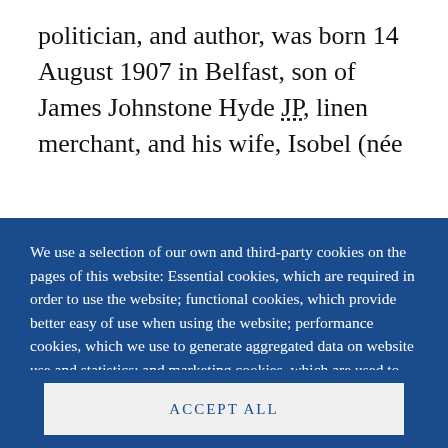politician, and author, was born 14 August 1907 in Belfast, son of James Johnstone Hyde JP, linen merchant, and his wife, Isobel (née
We use a selection of our own and third-party cookies on the pages of this website: Essential cookies, which are required in order to use the website; functional cookies, which provide better easy of use when using the website; performance cookies, which we use to generate aggregated data on website use and statistics; and marketing cookies, which are used to display relevant content and advertising. If you choose "ACCEPT ALL", you consent to the use of all cookies. You can accept and
ACCEPT ALL